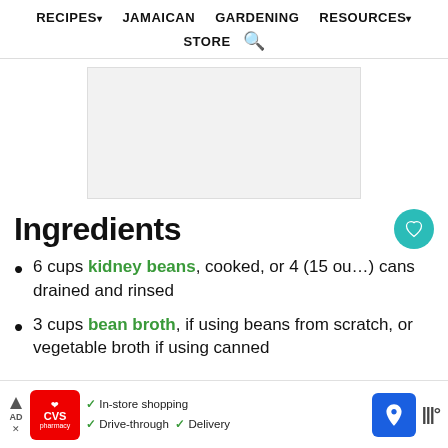RECIPES▾  JAMAICAN  GARDENING  RESOURCES▾  STORE  🔍
[Figure (other): Advertisement placeholder image]
Ingredients
6 cups kidney beans, cooked, or 4 (15 oz) cans drained and rinsed
3 cups bean broth, if using beans from scratch, or vegetable broth if using canned